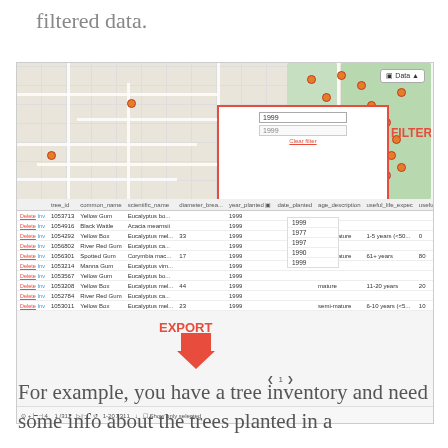filtered data.
[Figure (screenshot): Screenshot of a GIS/tree inventory web application showing a map with orange dots (tree locations), a data table listing trees with columns: tree_id, common_name, scientific_name, diameter_breast_height, year_planted, date_planted, age_description, useful_life_expec, useful_life_expec, located_n. A red-bordered FILTER popup is visible with a text input showing '1999' and a dropdown. Below the filter box is a list of years (1999, 1977, 1997, 1990, 1999). An EXPORT label with a red downward arrow is shown below the table. The bottom bar shows navigation controls and 'Show only selected'.]
For example, you have a tree inventory and need some info about the trees planted in a